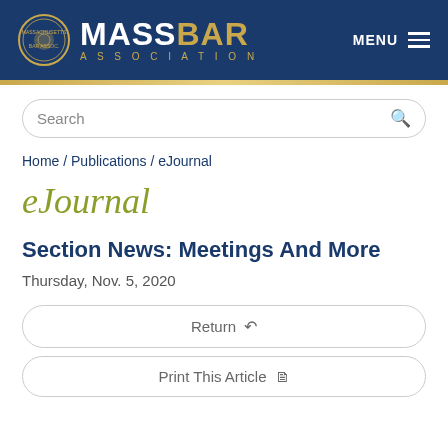[Figure (logo): Massachusetts Bar Association logo with seal, MASSBAR text in white and gold, ASSOCIATION in gold letters, on dark blue background with MENU button]
Search
Home / Publications / eJournal
eJournal
Section News: Meetings And More
Thursday, Nov. 5, 2020
Return
Print This Article